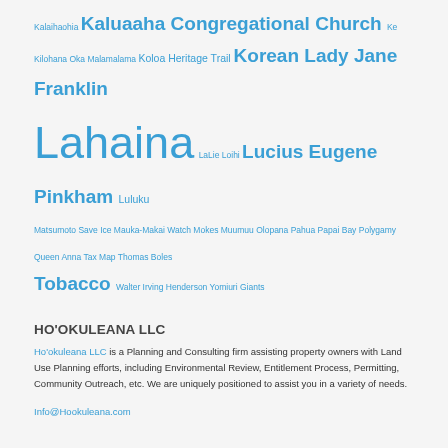Kalaihaohia Kaluaaha Congregational Church Ke Kilohana Oka Malamalama Koloa Heritage Trail Korean Lady Jane Franklin Lahaina LaLie Loihi Lucius Eugene Pinkham Luluku Matsumoto Save Ice Mauka-Makai Watch Mokes Muumuu Olopana Pahua Papai Bay Polygamy Queen Anna Tax Map Thomas Boles Tobacco Walter Irving Henderson Yomiuri Giants
HO'OKULEANA LLC
Ho'okuleana LLC is a Planning and Consulting firm assisting property owners with Land Use Planning efforts, including Environmental Review, Entitlement Process, Permitting, Community Outreach, etc. We are uniquely positioned to assist you in a variety of needs.
Info@Hookuleana.com